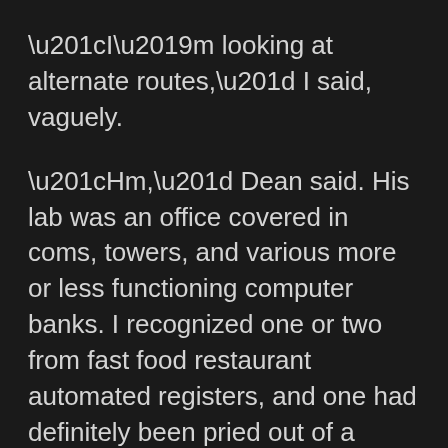“I’m looking at alternate routes,” I said, vaguely.
“Hm,” Dean said. His lab was an office covered in coms, towers, and various more or less functioning computer banks. I recognized one or two from fast food restaurant automated registers, and one had definitely been pried out of a military listening sector normally used to monitor web activity for signs of sedition.
They’d been wired together, and lights blinked in time.